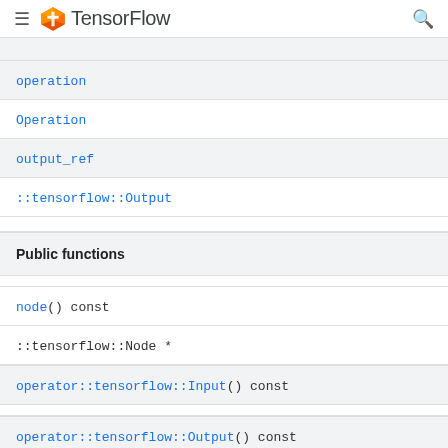TensorFlow
operation
Operation
output_ref
::tensorflow::Output
Public functions
node() const
::tensorflow::Node *
operator::tensorflow::Input() const
operator::tensorflow::Output() const